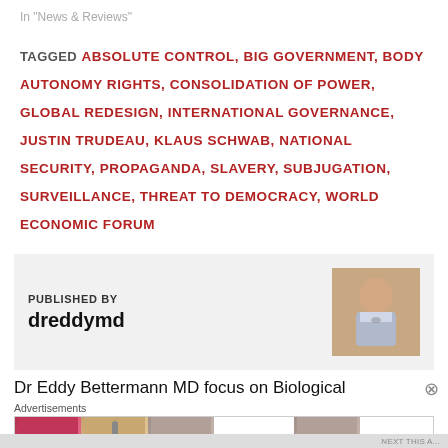In "News & Reviews"
TAGGED ABSOLUTE CONTROL, BIG GOVERNMENT, BODY AUTONOMY RIGHTS, CONSOLIDATION OF POWER, GLOBAL REDESIGN, INTERNATIONAL GOVERNANCE, JUSTIN TRUDEAU, KLAUS SCHWAB, NATIONAL SECURITY, PROPAGANDA, SLAVERY, SUBJUGATION, SURVEILLANCE, THREAT TO DEMOCRACY, WORLD ECONOMIC FORUM
PUBLISHED BY
dreddymd
Dr Eddy Bettermann MD focus on Biological
Advertisements